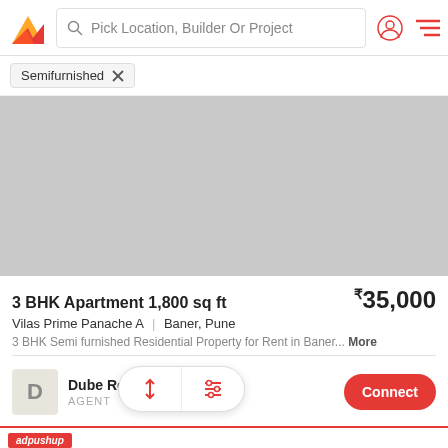Pick Location, Builder Or Project
Semifurnished
[Figure (photo): Property image placeholder (grey rectangle)]
3 BHK Apartment 1,800 sq ft
₹35,000
Vilas Prime Panache A | Baner, Pune
3 BHK Semi furnished Residential Property for Rent in Baner... More
Dube Real Estate AGENT
Connect
adpushup
Visit Premium Outlets® Leesburg Premium Outlets